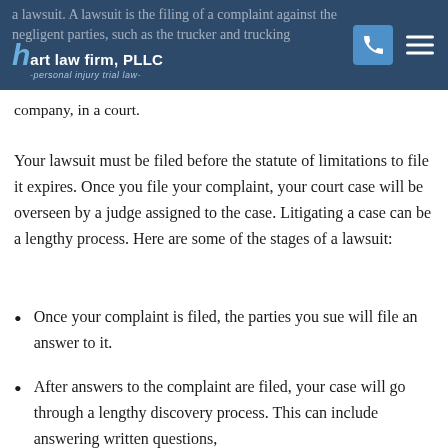Hart Law Firm, PLLC - personal injury trial law-
a lawsuit. A lawsuit is the filing of a complaint against the negligent parties, such as the trucker and trucking company, in a court.
Your lawsuit must be filed before the statute of limitations to file it expires. Once you file your complaint, your court case will be overseen by a judge assigned to the case. Litigating a case can be a lengthy process. Here are some of the stages of a lawsuit:
Once your complaint is filed, the parties you sue will file an answer to it.
After answers to the complaint are filed, your case will go through a lengthy discovery process. This can include answering written questions,